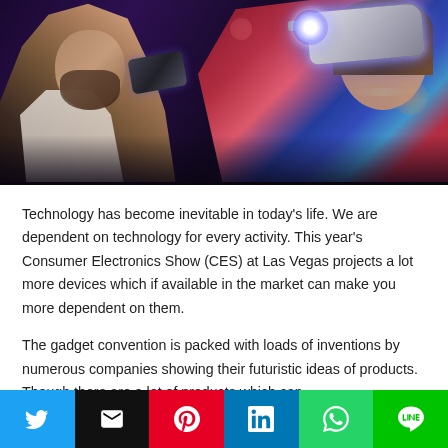[Figure (photo): People at a consumer electronics event. A woman on the right wears a VR headset with a glowing blue-white light, dressed in a floral jacket. A man on the left holds a camera or device. The setting is dark with colorful ambient lighting.]
Technology has become inevitable in today’s life. We are dependent on technology for every activity. This year’s Consumer Electronics Show (CES) at Las Vegas projects a lot more devices which if available in the market can make you more dependent on them.
The gadget convention is packed with loads of inventions by numerous companies showing their futuristic ideas of products. Though there are a lot of products which can